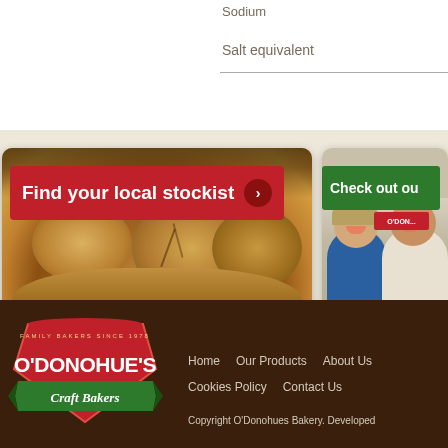Sodium
Salt equivalent
[Figure (photo): Banner card with bread loaves photo and red 'Find your local stockist' banner with arrow button]
[Figure (photo): Partial banner card showing two smiling people (man and woman) with green 'Check out ou' banner]
[Figure (logo): O'Donohue's Craft Bakers logo - red shield with white text and green ribbon banner]
Home    Our Products    About Us
Cookies Policy    Contact Us
Copyright O'Donohues Bakery. Developed